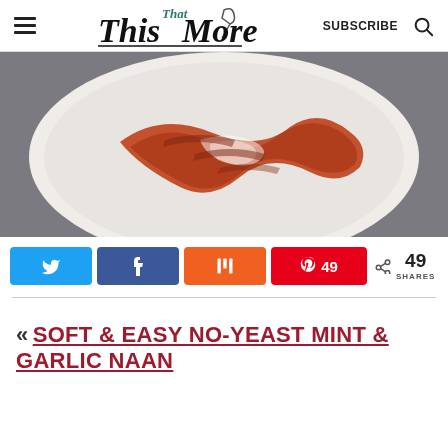This That More | SUBSCRIBE
[Figure (photo): Close-up of a white plate with red/brown sauce (possibly tamarind or ketchup) swirled on it, on a gray background]
Social share buttons: Twitter, Facebook, Mix, Pinterest (49), 49 SHARES
« SOFT & EASY NO-YEAST MINT & GARLIC NAAN